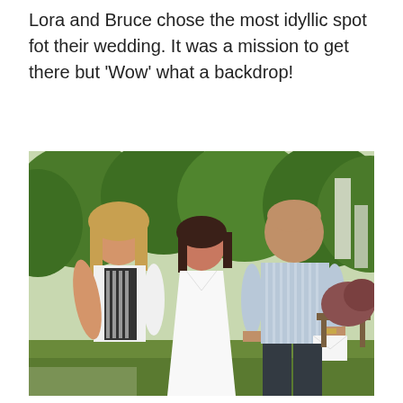Lora and Bruce chose the most idyllic spot fot their wedding. It was a mission to get there but 'Wow' what a backdrop!
[Figure (photo): Three people posing outdoors at a wedding. On the left, a woman with blonde hair wearing a white lace vest over a black and white patterned dress. In the centre, a woman in a white wedding dress with dark hair. On the right, a bald man in a light blue striped short-sleeve shirt holding a white card/envelope. Green leafy trees fill the background.]